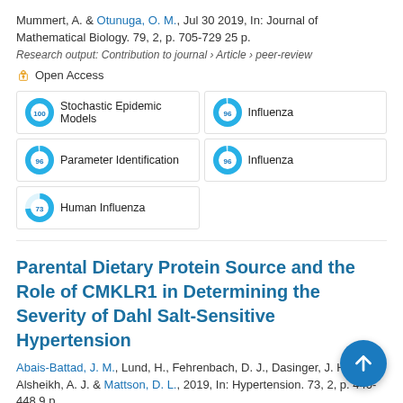Mummert, A. & Otunuga, O. M., Jul 30 2019, In: Journal of Mathematical Biology. 79, 2, p. 705-729 25 p.
Research output: Contribution to journal › Article › peer-review
Open Access
Stochastic Epidemic Models
Influenza
Parameter Identification
Influenza
Human Influenza
Parental Dietary Protein Source and the Role of CMKLR1 in Determining the Severity of Dahl Salt-Sensitive Hypertension
Abais-Battad, J. M., Lund, H., Fehrenbach, D. J., Dasinger, J. H., Alsheikh, A. J. & Mattson, D. L., 2019, In: Hypertension. 73, 2, p. 440-448 9 p.
Research output: Contribution to journal › Article › peer-review
Open Access
Dietary Proteins
Glutens